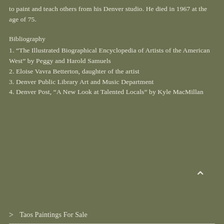to paint and teach others from his Denver studio. He died in 1967 at the age of 75.
Bibliography
1. “The Illustrated Biographical Encyclopedia of Artists of the American West” by Peggy and Harold Samuels
2. Eloise Vavra Betterton, daughter of the artist
3. Denver Public Library Art and Music Department
4. Denver Post, “A New Look at Talented Locals” by Kyle MacMillan
⌃
> Taos Paintings For Sale